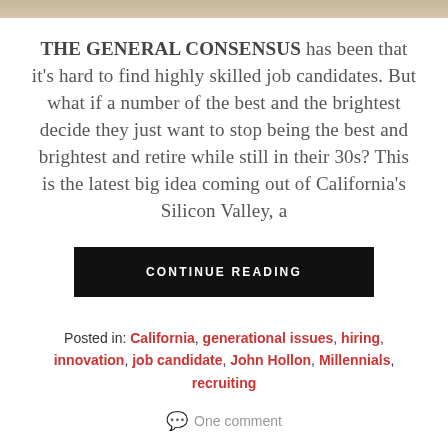[Figure (photo): Top banner image strip, partially visible at top of page]
THE GENERAL CONSENSUS has been that it’s hard to find highly skilled job candidates. But what if a number of the best and the brightest decide they just want to stop being the best and brightest and retire while still in their 30s? This is the latest big idea coming out of California’s Silicon Valley, a
CONTINUE READING
Posted in: California, generational issues, hiring, innovation, job candidate, John Hollon, Millennials, recruiting
One comment